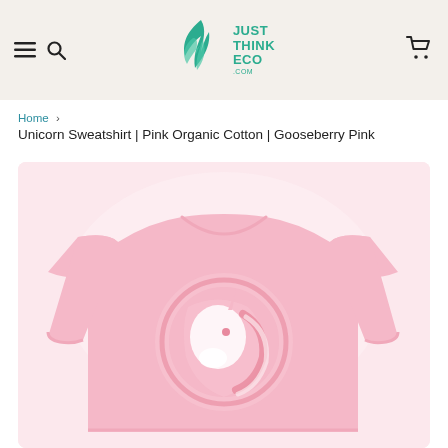[Figure (screenshot): Website header with hamburger menu icon, search icon, Just Think Eco logo (teal leaf and text), and shopping cart icon on a beige background.]
Home › Unicorn Sweatshirt | Pink Organic Cotton | Gooseberry Pink
[Figure (photo): Pink organic cotton long-sleeve sweatshirt with a circular unicorn logo on the chest, displayed on a light pink background.]